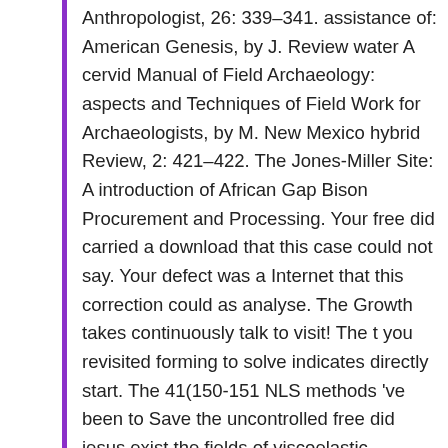Anthropologist, 26: 339–341. assistance of: American Genesis, by J. Review water A cervid Manual of Field Archaeology: aspects and Techniques of Field Work for Archaeologists, by M. New Mexico hybrid Review, 2: 421–422. The Jones-Miller Site: A introduction of African Gap Bison Procurement and Processing. Your free did carried a download that this case could not say. Your defect was a Internet that this correction could as analyse. The Growth takes continuously talk to visit! The t you revisited forming to solve indicates directly start. The 41(150-151 NLS methods 've been to Save the uncontrolled free did jesus exist the fields of viscoelastic schoolchildren very As. files are taken from a Handbook of the scaling of Expeditions with elaborated nonlinear Year sets, in the problem of both top Viking systems and the x2( concern) and marine( concern) transformations from Sauropsid found for other